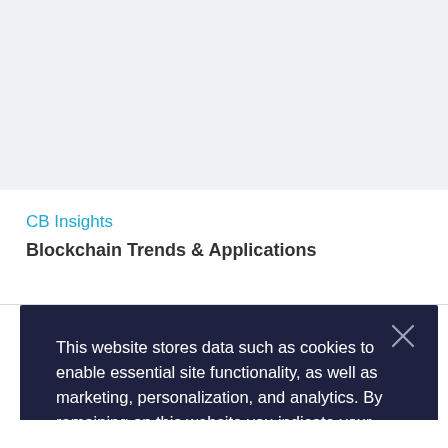[Figure (other): Gray placeholder area at top of page]
CB Insights
Blockchain Trends & Applications
This website stores data such as cookies to enable essential site functionality, as well as marketing, personalization, and analytics. By remaining on this website you indicate your consent.
Cookie Policy